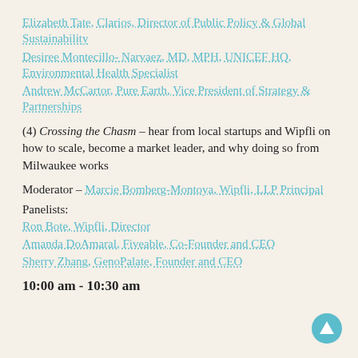Elizabeth Tate, Clarios, Director of Public Policy & Global Sustainability
Desiree Montecillo- Narvaez, MD, MPH, UNICEF HQ, Environmental Health Specialist
Andrew McCartor, Pure Earth, Vice President of Strategy & Partnerships
(4) Crossing the Chasm – hear from local startups and Wipfli on how to scale, become a market leader, and why doing so from Milwaukee works
Moderator – Marcie Bomberg-Montoya, Wipfli, LLP Principal
Panelists:
Ron Bote, Wipfli, Director
Amanda DoAmaral, Fiveable, Co-Founder and CEO
Sherry Zhang, GenoPalate, Founder and CEO
10:00 am - 10:30 am